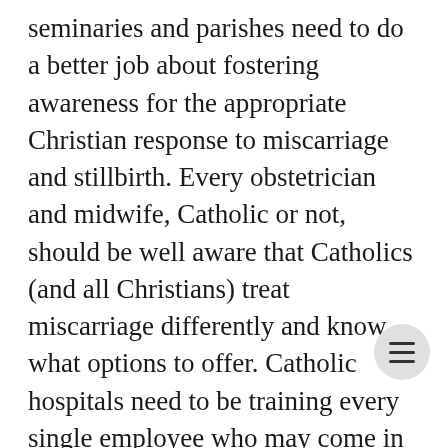seminaries and parishes need to do a better job about fostering awareness for the appropriate Christian response to miscarriage and stillbirth. Every obstetrician and midwife, Catholic or not, should be well aware that Catholics (and all Christians) treat miscarriage differently and know what options to offer. Catholic hospitals need to be training every single employee who may come in contact with miscarriage in how to lovingly and appropriately respond to it (or the threat of it), from the E.R. receptionist to the med student to the pathology technicians. They should facili— contact between the parents and a Catholic priest or parish that can help them. They should ensure